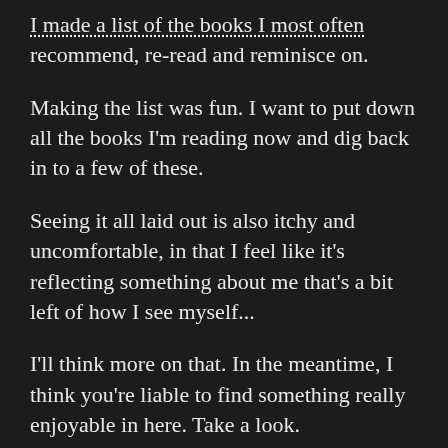I made a list of the books I most often recommend, re-read and reminisce on.
Making the list was fun. I want to put down all the books I'm reading now and dig back in to a few of these.
Seeing it all laid out is also itchy and uncomfortable, in that I feel like it's reflecting something about me that's a bit left of how I see myself...
I'll think more on that. In the meantime, I think you're liable to find something really enjoyable in here. Take a look.